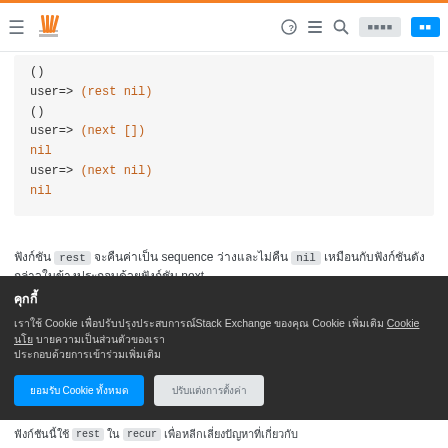Stack Overflow navigation bar with hamburger menu, logo, help, chat, search, login and signup buttons
[Figure (screenshot): Code block showing Clojure REPL output: () user=> (rest nil) () user=> (next []) nil user=> (next nil) nil]
ฟังก์ชัน rest จะคืนค่าเป็น sequence ว่างและไม่คืน nil เหมือนกับฟังก์ชัน next
แต่ seq จะแปลง nil ให้กลับมาเป็น nil เหมือนเดิม
[Figure (screenshot): Code block showing: user=> (seq [])]
คุกกี้ - Cookie overlay title
เราใช้ Cookie เพื่อปรับปรุงประสบการณ์ Stack Exchange ของคุณ Cookie เพิ่มเติม Cookie นโย บายความเป็นส่วนตัวของเรา
ยอมรับ Cookie ทั้งหมด / ปรับแต่งการตั้งค่า
ฟังก์ชันนี้ใช้ rest ใน recur เพื่อหลีกเลี่ยงปัญหาที่เกี่ยวกับ